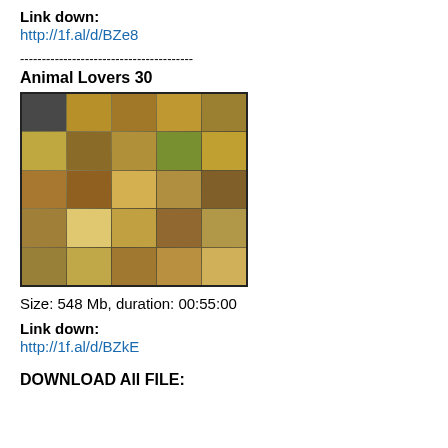Link down:
http://1f.al/d/BZe8
----------------------------------------
Animal Lovers 30
[Figure (photo): Thumbnail grid/preview image for Animal Lovers 30 video]
Size: 548 Mb, duration: 00:55:00
Link down:
http://1f.al/d/BZkE
DOWNLOAD All FILE: